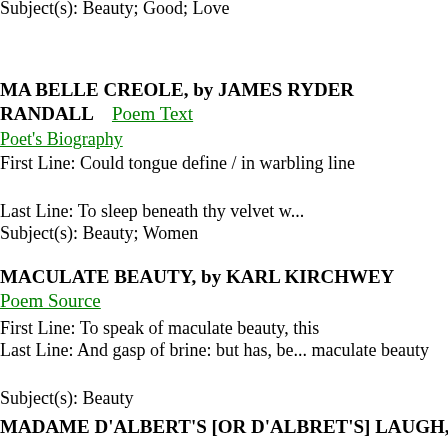Subject(s): Beauty; Good; Love
MA BELLE CREOLE, by JAMES RYDER RANDALL
Poem Text  Poet's Biography
First Line: Could tongue define / in warbling line
Last Line: To sleep beneath thy velvet w...
Subject(s): Beauty; Women
MACULATE BEAUTY, by KARL KIRCHWEY
Poem Source
First Line: To speak of maculate beauty, this
Last Line: And gasp of brine: but has, be... maculate beauty
Subject(s): Beauty
MADAME D'ALBERT'S [OR D'ALBRET'S] LAUGH, by CLEMENT MAROT
Poem Text  Poet's Biography
First Line: Yes! That fair neck, too beauty...